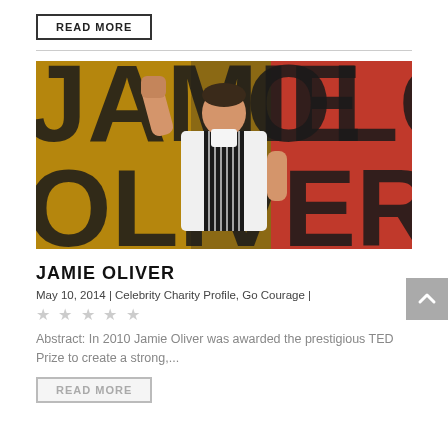READ MORE
[Figure (photo): Jamie Oliver in chef whites and striped apron, fist raised, standing in front of a colorful Jamie Oliver branded backdrop]
JAMIE OLIVER
May 10, 2014 | Celebrity Charity Profile, Go Courage |
★★★★★ (5 stars, unrated/grey)
Abstract: In 2010 Jamie Oliver was awarded the prestigious TED Prize to create a strong,...
READ MORE